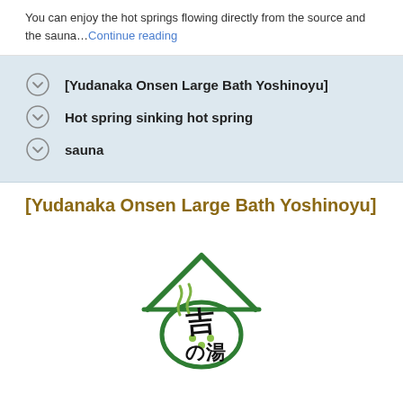You can enjoy the hot springs flowing directly from the source and the sauna…Continue reading
[Yudanaka Onsen Large Bath Yoshinoyu]
Hot spring sinking hot spring
sauna
[Yudanaka Onsen Large Bath Yoshinoyu]
[Figure (logo): Yoshinoyu onsen logo: a green house/roof outline with a circular bowl shape below containing Japanese calligraphy characters and steam rising above.]